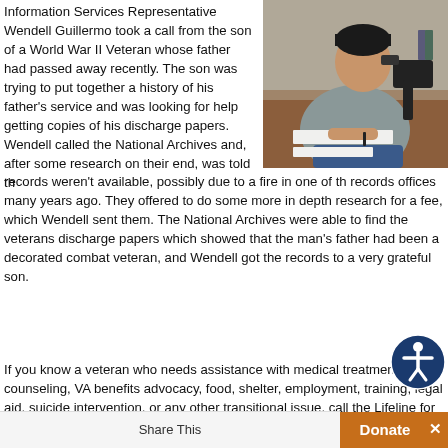[Figure (photo): A man sitting at a desk, talking on a telephone and writing on paper, with office equipment visible in the background.]
Information Services Representative Wendell Guillermo took a call from the son of a World War II Veteran whose father had passed away recently.  The son was trying to put together a history of his father's service and was looking for help getting copies of his discharge papers.  Wendell called the National Archives and, after some research on their end, was told the records weren't available, possibly due to a fire in one of the records offices many years ago.  They offered to do some more in depth research for a fee, which Wendell sent them.  The National Archives were able to find the veterans discharge papers which showed that the man's father had been a decorated combat veteran, and Wendell got the records to a very grateful son.
If you know a veteran who needs assistance with medical treatment, PTSD counseling, VA benefits advocacy, food, shelter, employment, training, legal aid, suicide intervention, or any other transitional issue, call the Lifeline for Vets at 88...